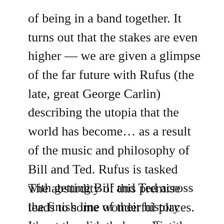of being in a band together. It turns out that the stakes are even higher — we are given a glimpse of the far future with Rufus (the late, great George Carlin) describing the utopia that the world has become… as a result of the music and philosophy of Bill and Ted. Rufus is tasked with getting Bill and Ted across the finish line of their history report through the use of a time machine… and we're off to the races. They'll visit various time periods, kidnap historical figures, and trash the local mall, all on the way to acing that report.
The absurdity of this premise leads to some wonderful places. It's so peculiar and specific; the very idea that all the students of San